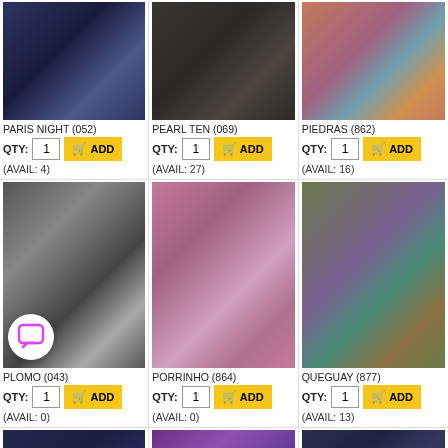PARIS NIGHT (052)
QTY: 1  ADD
(AVAIL: 4)
PEARL TEN (069)
QTY: 1  ADD
(AVAIL: 27)
PIEDRAS (862)
QTY: 1  ADD
(AVAIL: 16)
[Figure (photo): Skein of dark navy blue yarn]
[Figure (photo): Skein of dark charcoal/brown yarn]
[Figure (photo): Skein of multicolor pink/orange/teal yarn]
PLOMO (043)
QTY: 1  ADD
(AVAIL: 0)
PORRINHO (864)
QTY: 1  ADD
(AVAIL: 0)
QUEGUAY (877)
QTY: 1  ADD
(AVAIL: 13)
[Figure (photo): Large skein of dark gray/charcoal yarn]
[Figure (photo): Large skein of pink/mauve/purple yarn]
[Figure (photo): Skein of multicolor olive/teal/purple yarn]